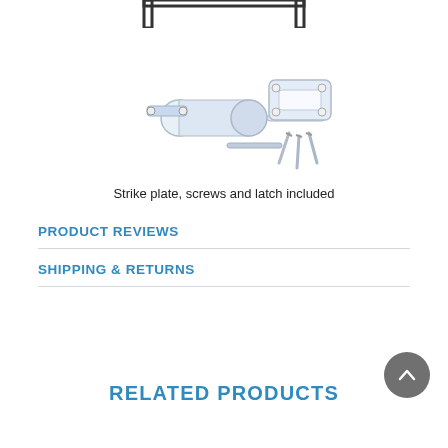[Figure (illustration): Bracket/ruler shape at top of page (partial, cropped at top)]
[Figure (illustration): Strike plate, screws and latch hardware components illustrated]
Strike plate, screws and latch included
PRODUCT REVIEWS
SHIPPING & RETURNS
RELATED PRODUCTS